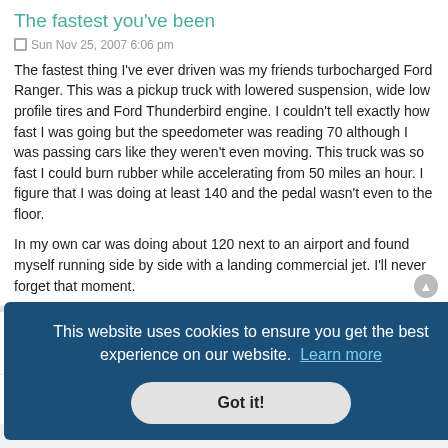The fastest you've been
Sun Nov 25, 2007 6:06 pm
The fastest thing I've ever driven was my friends turbocharged Ford Ranger. This was a pickup truck with lowered suspension, wide low profile tires and Ford Thunderbird engine. I couldn't tell exactly how fast I was going but the speedometer was reading 70 although I was passing cars like they weren't even moving. This truck was so fast I could burn rubber while accelerating from 50 miles an hour. I figure that I was doing at least 140 and the pedal wasn't even to the floor.
In my own car was doing about 120 next to an airport and found myself running side by side with a landing commercial jet. I'll never forget that moment.
G-man
This website uses cookies to ensure you get the best experience on our website.  Learn more
Got it!
...st thing ...ing to get technical about the question. :p I'm used to flying planes, so any land vehicle seems to be moving at a turtle's pace to me.